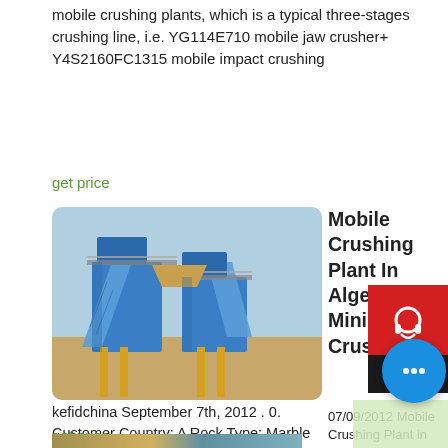mobile crushing plants, which is a typical three-stages crushing line, i.e. YG114E710 mobile jaw crusher+ Y4S2160FC1315 mobile impact crushing
get price
[Figure (photo): Photo of a large mobile crushing plant machinery with blue and yellow steel structure, outdoor industrial setting.]
Mobile Crushing Plant In Algeria Mining, Crushing
07/09/2012 Mobile Crushing Plant in Algeria . BY kefidchina September 7th, 2012 . 0. Customer Country: A... Rock Type: Marble ore, Moorstone; Max. Feed Size: 650 ... Crushing Capacity: 180-220 ton per hour; Final product size: 0-5 mm, 5-15mm, 15-30 mm; Equipments & Plant: Mobile Jaw Crusher YG114E710 + Mobile Impact Crusher Y4S2160FW1315; Mobile jaw crusher and mobile impact crusher
get price